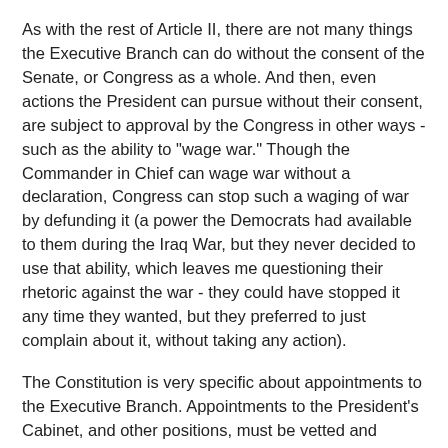As with the rest of Article II, there are not many things the Executive Branch can do without the consent of the Senate, or Congress as a whole. And then, even actions the President can pursue without their consent, are subject to approval by the Congress in other ways - such as the ability to "wage war." Though the Commander in Chief can wage war without a declaration, Congress can stop such a waging of war by defunding it (a power the Democrats had available to them during the Iraq War, but they never decided to use that ability, which leaves me questioning their rhetoric against the war - they could have stopped it any time they wanted, but they preferred to just complain about it, without taking any action).
The Constitution is very specific about appointments to the Executive Branch. Appointments to the President's Cabinet, and other positions, must be vetted and approved for their positions by the Senate. The Czars are appointed without consent of the Senate, and without any oversight by the Congress. The Czars have significant authority, and therefore are subject to a vote of the U.S. Senate.